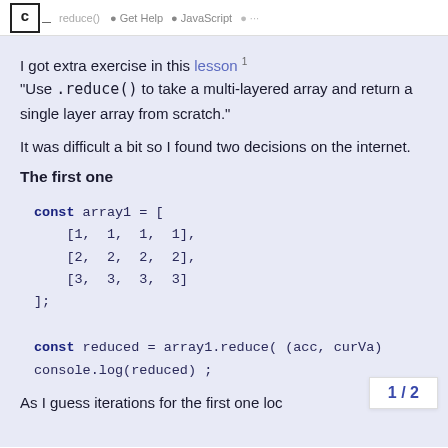C_ reduce() · Get Help · JavaScript · ...
I got extra exercise in this lesson 1
"Use .reduce() to take a multi-layered array and return a single layer array from scratch."
It was difficult a bit so I found two decisions on the internet.
The first one
const array1 = [
    [1, 1, 1, 1],
    [2, 2, 2, 2],
    [3, 3, 3, 3]
];
const reduced = array1.reduce( (acc, curVa)
console.log(reduced) ;
As I guess iterations for the first one loc
1 / 2